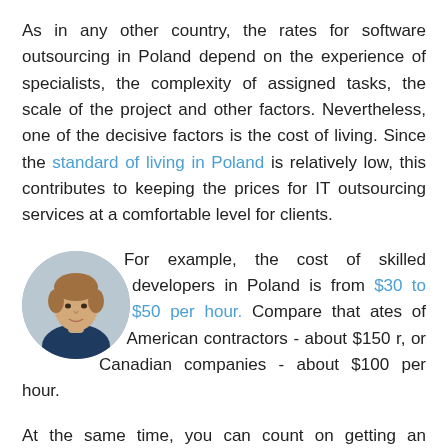As in any other country, the rates for software outsourcing in Poland depend on the experience of specialists, the complexity of assigned tasks, the scale of the project and other factors. Nevertheless, one of the decisive factors is the cost of living. Since the standard of living in Poland is relatively low, this contributes to keeping the prices for IT outsourcing services at a comfortable level for clients.
For example, the cost of skilled developers in Poland is from $30 to $50 per hour. Compare that ates of American contractors - about $150 r, or Canadian companies - about $100 per hour.
[Figure (photo): Circular profile photo of a young man wearing a dark navy shirt, shown from shoulders up against a neutral background.]
At the same time, you can count on getting an advanced and highly competitive software solution through high quality software outsourcing services